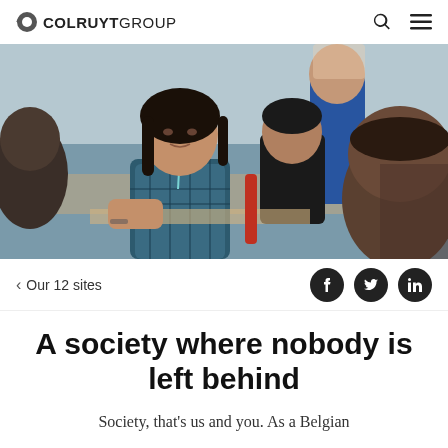COLRUYTGROUP
[Figure (photo): Students or young people sitting around a table in a classroom setting, engaged in conversation. A young Asian girl in a plaid shirt with a lanyard is in focus in the center. Other students are visible around her, including a boy on the right side in the foreground. A person in blue stands in the background.]
< Our 12 sites
A society where nobody is left behind
Society, that's us and you. As a Belgian